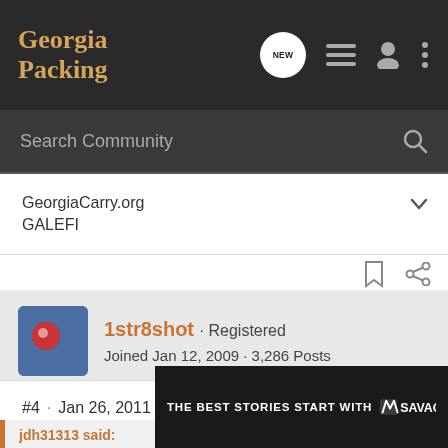Georgia Packing
Search Community
GeorgiaCarry.org
GALEFI
1str8shot · Registered
Joined Jan 12, 2009 · 3,286 Posts
#4 · Jan 26, 2011
jdh31313 said:
Great news…but may I suggest creating two separate divisions (one for 191… …pistol shoote…
[Figure (screenshot): Savage Arms advertisement overlay: THE BEST STORIES START WITH SAVAGE]